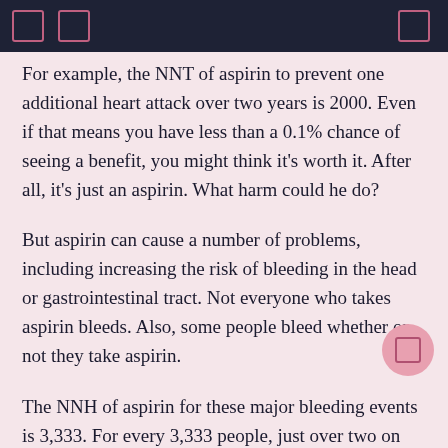For example, the NNT of aspirin to prevent one additional heart attack over two years is 2000. Even if that means you have less than a 0.1% chance of seeing a benefit, you might think it's worth it. After all, it's just an aspirin. What harm could he do?
But aspirin can cause a number of problems, including increasing the risk of bleeding in the head or gastrointestinal tract. Not everyone who takes aspirin bleeds. Also, some people bleed whether or not they take aspirin.
The NNH of aspirin for these major bleeding events is 3,333. For every 3,333 people, just over two on average will have a major bleeding event, whether or not they take aspirin. About 3,330 will have no bleeding no matter what they do. But for every 3,333 people who take aspirin for two years, one additional person will have a major bleeding event. It is an